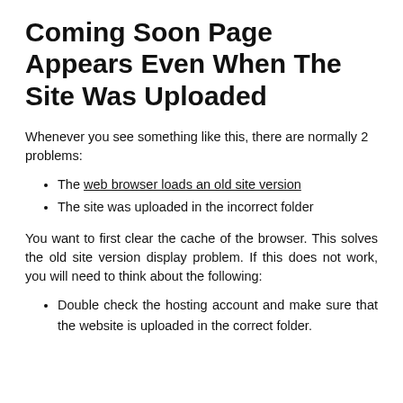Coming Soon Page Appears Even When The Site Was Uploaded
Whenever you see something like this, there are normally 2 problems:
The web browser loads an old site version
The site was uploaded in the incorrect folder
You want to first clear the cache of the browser. This solves the old site version display problem. If this does not work, you will need to think about the following:
Double check the hosting account and make sure that the website is uploaded in the correct folder.